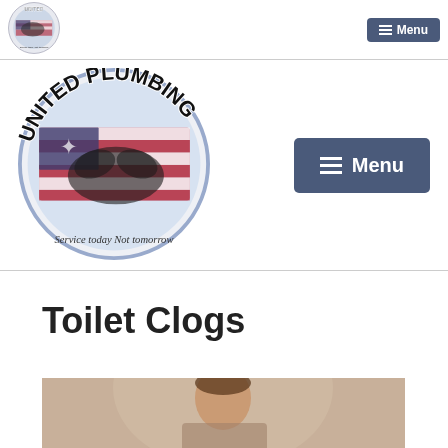United Plumbing logo (small) and Menu button
[Figure (logo): United Plumbing circular logo with eagle and American flag, text: Service today Not tomorrow (large version)]
Toilet Clogs
[Figure (photo): Photo of a person looking down, partial view, muted beige/tan tones]